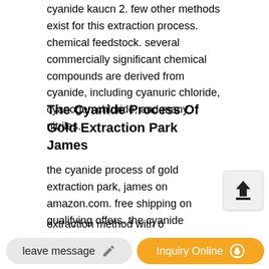cyanide kaucn 2. few other methods exist for this extraction process. chemical feedstock. several commercially significant chemical compounds are derived from cyanide, including cyanuric chloride, cyanogen chloride, and many nitriles.
The Cyanide Process Of Gold Extraction Park James
the cyanide process of gold extraction park, james on amazon.com. free shipping on qualifying offers. the cyanide process of gold extraction.sodium cyanide orica,gold extraction process. sod ium cyanide has been used in the extraction of gold from ore for over a century. today it is still considered the most efficient extraction method with o...
orica is one of the largest...